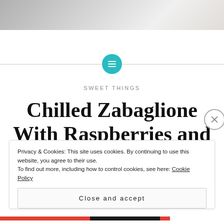[Figure (photo): Top portion of a food photo, showing a white bowl or plate, cropped at the top of the page]
SWEET THINGS
Chilled Zabaglione With Raspberries and Amaretti
Privacy & Cookies: This site uses cookies. By continuing to use this website, you agree to their use.
To find out more, including how to control cookies, see here: Cookie Policy
Close and accept